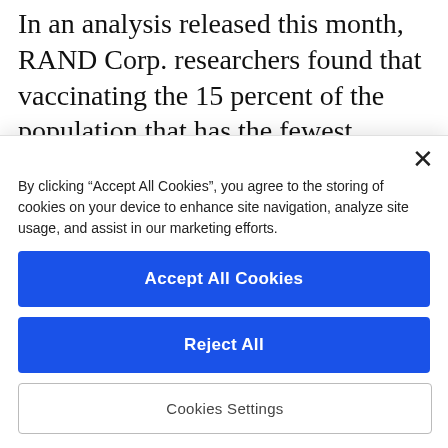In an analysis released this month, RAND Corp. researchers found that vaccinating the 15 percent of the population that has the fewest contacts, such as the elderly who mostly stay home, reduced new infections in a society by 1 percent, compared to a 96 percent reduction in infections following a vaccination plan that targeted the 15 percent of the population with the most contacts, such as essential workers.
By clicking "Accept All Cookies", you agree to the storing of cookies on your device to enhance site navigation, analyze site usage, and assist in our marketing efforts.
Accept All Cookies
Reject All
Cookies Settings